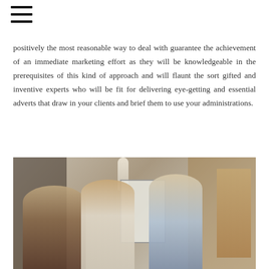menu icon (hamburger)
positively the most reasonable way to deal with guarantee the achievement of an immediate marketing effort as they will be knowledgeable in the prerequisites of this kind of approach and will flaunt the sort gifted and inventive experts who will be fit for delivering eye-getting and essential adverts that draw in your clients and brief them to use your administrations.
[Figure (photo): Office meeting scene with three people: a bearded man seated on the left, a woman with curly hair standing in the center holding a laptop, and a blonde woman on the right standing near a whiteboard. Modern office environment with plants and wooden shelving in the background.]